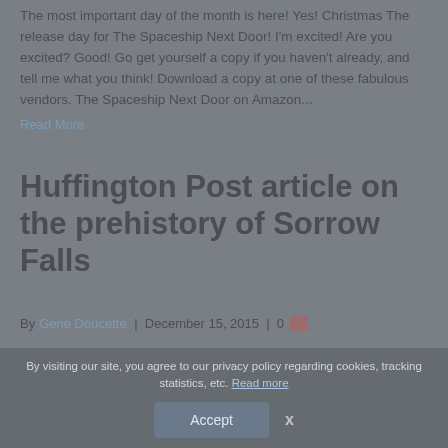The most important day of the month is here! Yes! Christmas The release day for The Spaceship Next Door! I'm excited! Are you excited? Good! Go get yourself a copy if you haven't already, and tell me what you think! Download a copy at one of these fabulous vendors. The Spaceship Next Door on Amazon...
Read More
Huffington Post article on the prehistory of Sorrow Falls
By Gene Doucette | December 15, 2015 | 0
By visiting our site, you agree to our privacy policy regarding cookies, tracking statistics, etc. Read more
Accept   x